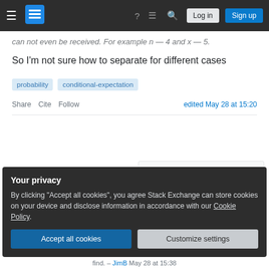Stack Exchange navigation bar with Log in and Sign up buttons
can not even be received. For example n — 4 and x — 5.
So I'm not sure how to separate for different cases
probability   conditional-expectation
Share   Cite   Follow   edited May 28 at 15:20
asked May 28 at 15:03
Suspicious_1
Your privacy
By clicking "Accept all cookies", you agree Stack Exchange can store cookies on your device and disclose information in accordance with our Cookie Policy.
Accept all cookies   Customize settings
find. – JimB May 28 at 15:38